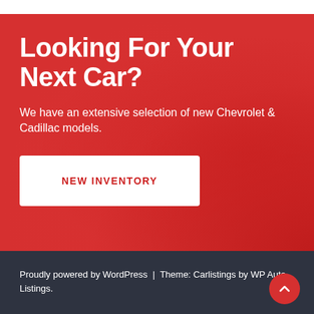Looking For Your Next Car?
We have an extensive selection of new Chevrolet & Cadillac models.
NEW INVENTORY
Proudly powered by WordPress | Theme: Carlistings by WP Auto Listings.